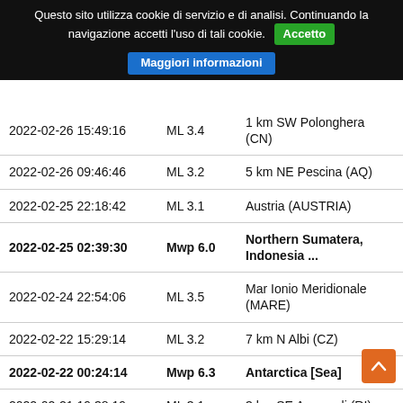Questo sito utilizza cookie di servizio e di analisi. Continuando la navigazione accetti l'uso di tali cookie. Accetto Maggiori informazioni
| Data/Ora UTC | Magnitudo | Zona |
| --- | --- | --- |
| 2022-02-26 15:49:16 | ML 3.4 | 1 km SW Polonghera (CN) |
| 2022-02-26 09:46:46 | ML 3.2 | 5 km NE Pescina (AQ) |
| 2022-02-25 22:18:42 | ML 3.1 | Austria (AUSTRIA) |
| 2022-02-25 02:39:30 | Mwp 6.0 | Northern Sumatera, Indonesia ... |
| 2022-02-24 22:54:06 | ML 3.5 | Mar Ionio Meridionale (MARE) |
| 2022-02-22 15:29:14 | ML 3.2 | 7 km N Albi (CZ) |
| 2022-02-22 00:24:14 | Mwp 6.3 | Antarctica [Sea] |
| 2022-02-21 19:38:19 | ML 3.1 | 3 km SE Accumoli (RI) |
| 2022-02-20 15:49:11 | ML 3.8 | Mar Ionio Meridionale (MARE) |